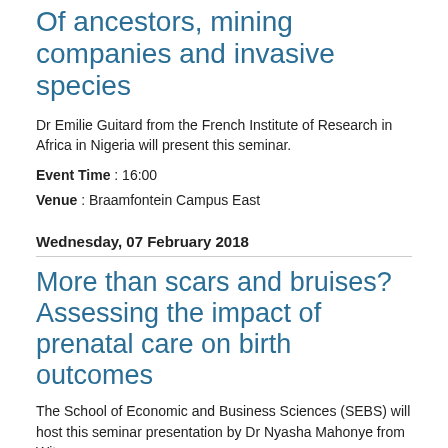Of ancestors, mining companies and invasive species
Dr Emilie Guitard from the French Institute of Research in Africa in Nigeria will present this seminar.
Event Time : 16:00
Venue : Braamfontein Campus East
Wednesday, 07 February 2018
More than scars and bruises? Assessing the impact of prenatal care on birth outcomes
The School of Economic and Business Sciences (SEBS) will host this seminar presentation by Dr Nyasha Mahonye from Wits.